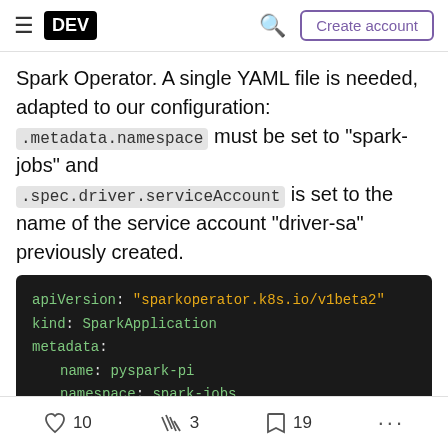DEV | Create account
Spark Operator. A single YAML file is needed, adapted to our configuration: .metadata.namespace must be set to "spark-jobs" and .spec.driver.serviceAccount is set to the name of the service account "driver-sa" previously created.
[Figure (screenshot): YAML code block on dark background showing SparkApplication configuration with apiVersion, kind, metadata (name: pyspark-pi, namespace: spark-jobs), spec with batchScheduler: volcano, batchSchedulerOptions, and priorityClassName: routine (partially visible)]
10  3  19  ...